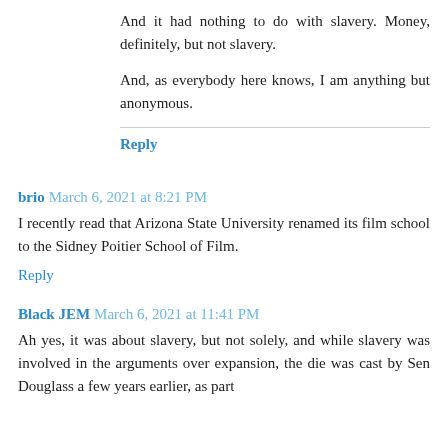And it had nothing to do with slavery. Money, definitely, but not slavery.
And, as everybody here knows, I am anything but anonymous.
Reply
brio March 6, 2021 at 8:21 PM
I recently read that Arizona State University renamed its film school to the Sidney Poitier School of Film.
Reply
Black JEM March 6, 2021 at 11:41 PM
Ah yes, it was about slavery, but not solely, and while slavery was involved in the arguments over expansion, the die was cast by Sen Douglass a few years earlier, as part